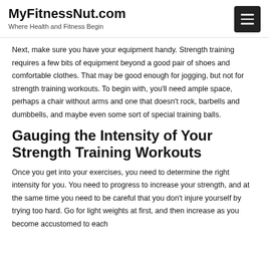MyFitnessNut.com — Where Health and Fitness Begin
Next, make sure you have your equipment handy. Strength training requires a few bits of equipment beyond a good pair of shoes and comfortable clothes. That may be good enough for jogging, but not for strength training workouts. To begin with, you'll need ample space, perhaps a chair without arms and one that doesn't rock, barbells and dumbbells, and maybe even some sort of special training balls.
Gauging the Intensity of Your Strength Training Workouts
Once you get into your exercises, you need to determine the right intensity for you. You need to progress to increase your strength, and at the same time you need to be careful that you don't injure yourself by trying too hard. Go for light weights at first, and then increase as you become accustomed to each